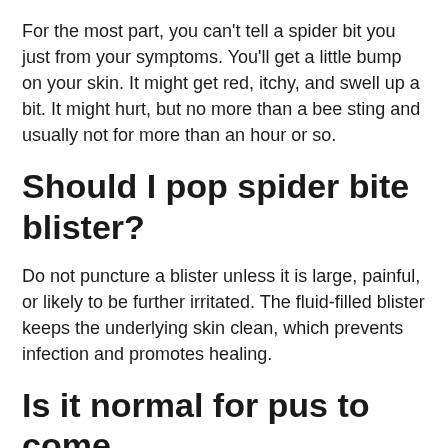For the most part, you can't tell a spider bit you just from your symptoms. You'll get a little bump on your skin. It might get red, itchy, and swell up a bit. It might hurt, but no more than a bee sting and usually not for more than an hour or so.
Should I pop spider bite blister?
Do not puncture a blister unless it is large, painful, or likely to be further irritated. The fluid-filled blister keeps the underlying skin clean, which prevents infection and promotes healing.
Is it normal for pus to come